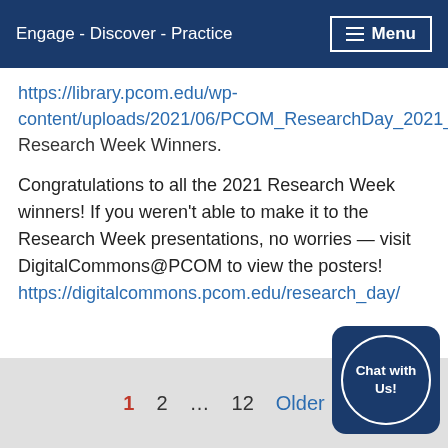Engage - Discover - Practice | Menu
https://library.pcom.edu/wp-content/uploads/2021/06/PCOM_ResearchDay_2021_W… Research Week Winners.
Congratulations to all the 2021 Research Week winners! If you weren't able to make it to the Research Week presentations, no worries — visit DigitalCommons@PCOM to view the posters! https://digitalcommons.pcom.edu/research_day/
1  2  ...  12  Older